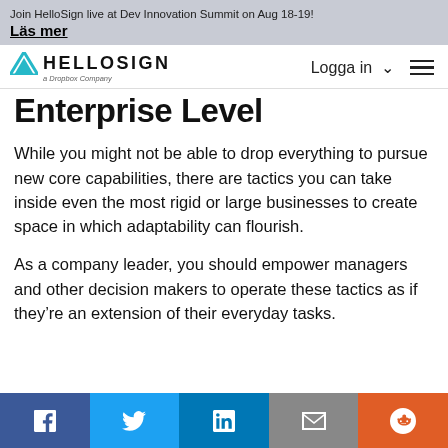Join HelloSign live at Dev Innovation Summit on Aug 18-19! Läs mer
[Figure (logo): HelloSign – a Dropbox Company logo with teal triangle/chevron icon]
Enterprise Level
While you might not be able to drop everything to pursue new core capabilities, there are tactics you can take inside even the most rigid or large businesses to create space in which adaptability can flourish.
As a company leader, you should empower managers and other decision makers to operate these tactics as if they're an extension of their everyday tasks.
Social share bar: Facebook, Twitter, LinkedIn, Email, Reddit